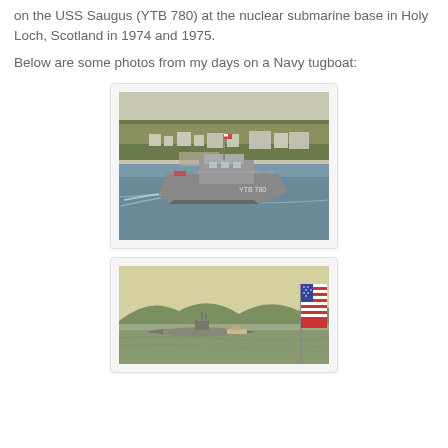on the USS Saugus (YTB 780) at the nuclear submarine base in Holy Loch, Scotland in 1974 and 1975.
Below are some photos from my days on a Navy tugboat:
[Figure (photo): Vintage photograph of the USS Saugus (YTB 780) Navy tugboat underway on water with a hillside town visible in the background, taken at Holy Loch, Scotland.]
[Figure (photo): Vintage photograph showing a submarine on the water surface with mountains in the background and an American flag visible on the right side, taken at Holy Loch, Scotland.]